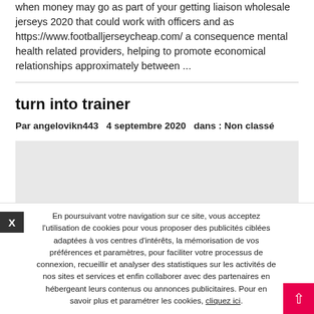when money may go as part of your getting liaison wholesale jerseys 2020 that could work with officers and as https://www.footballjerseycheap.com/ a consequence mental health related providers, helping to promote economical relationships approximately between ...
turn into trainer
Par angelovikn443   4 septembre 2020   dans : Non classé
[Figure (other): Light grey rectangular placeholder image area]
En poursuivant votre navigation sur ce site, vous acceptez l'utilisation de cookies pour vous proposer des publicités ciblées adaptées à vos centres d'intérêts, la mémorisation de vos préférences et paramètres, pour faciliter votre processus de connexion, recueillir et analyser des statistiques sur les activités de nos sites et services et enfin collaborer avec des partenaires en hébergeant leurs contenus ou annonces publicitaires. Pour en savoir plus et paramétrer les cookies, cliquez ici.